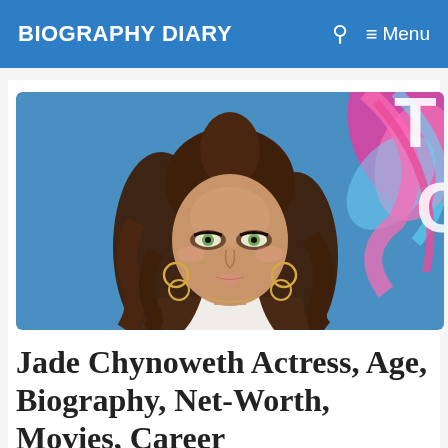BIOGRAPHY DIARY
[Figure (photo): Young woman with long wavy brown hair, green eyes, smoky eye makeup, gold hoop earrings, white top, posing in front of a blue background with colorful swirl graphics (Teen Choice Awards style backdrop)]
Jade Chynoweth Actress, Age, Biography, Net-Worth, Movies, Career